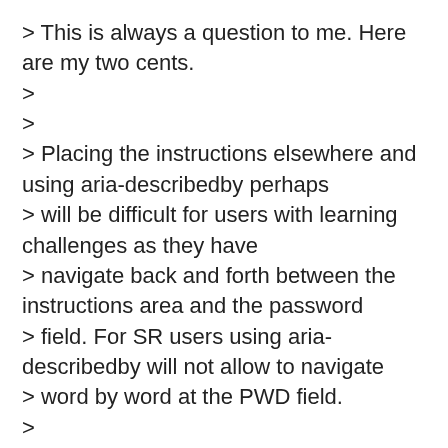> This is always a question to me. Here are my two cents.
>
>
> Placing the instructions elsewhere and using aria-describedby perhaps
> will be difficult for users with learning challenges as they have
> navigate back and forth between the instructions area and the password
> field. For SR users using aria-describedby will not allow to navigate
> word by word at the PWD field.
>
> I dint think of the pros and cons but here is my proposal.
>